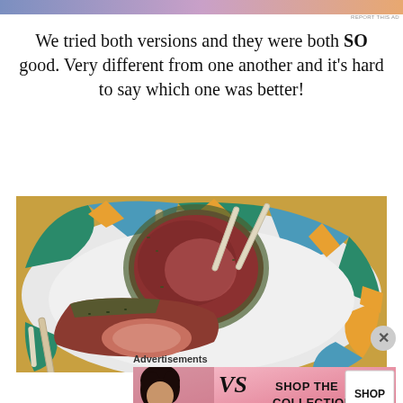[Figure (other): Advertisement banner at top with gradient from blue-purple to orange]
We tried both versions and they were both SO good. Very different from one another and it's hard to say which one was better!
[Figure (photo): Photo of rack of lamb chops on a decorative plate with colorful geometric pattern border, showing two lamb chops with bones, one standing upright and one sliced open showing pink interior]
Advertisements
[Figure (other): Victoria's Secret advertisement with model, VS logo, text 'SHOP THE COLLECTION' and 'SHOP NOW' button]